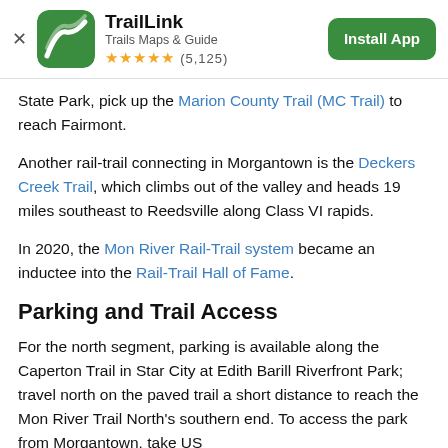TrailLink — Trails Maps & Guide — ★★★★★ (5,125) — Install App
State Park, pick up the Marion County Trail (MC Trail) to reach Fairmont.
Another rail-trail connecting in Morgantown is the Deckers Creek Trail, which climbs out of the valley and heads 19 miles southeast to Reedsville along Class VI rapids.
In 2020, the Mon River Rail-Trail system became an inductee into the Rail-Trail Hall of Fame.
Parking and Trail Access
For the north segment, parking is available along the Caperton Trail in Star City at Edith Barill Riverfront Park; travel north on the paved trail a short distance to reach the Mon River Trail North's southern end. To access the park from Morgantown, take US